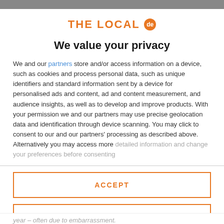[Figure (logo): THE LOCAL de logo in orange with circular badge]
We value your privacy
We and our partners store and/or access information on a device, such as cookies and process personal data, such as unique identifiers and standard information sent by a device for personalised ads and content, ad and content measurement, and audience insights, as well as to develop and improve products. With your permission we and our partners may use precise geolocation data and identification through device scanning. You may click to consent to our and our partners' processing as described above. Alternatively you may access more detailed information and change your preferences before consenting
ACCEPT
MORE OPTIONS
year – often due to embarrassment.